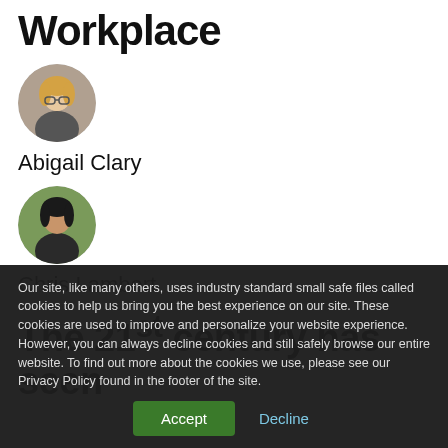Workplace
[Figure (photo): Circular avatar photo of Abigail Clary, a woman with blonde hair and glasses wearing a dark top]
Abigail Clary
[Figure (photo): Circular avatar photo of Chris Lambert, a man with dark hair wearing a dark jacket]
Chris Lambert
The 21st century has seen
Our site, like many others, uses industry standard small safe files called cookies to help us bring you the best experience on our site. These cookies are used to improve and personalize your website experience. However, you can always decline cookies and still safely browse our entire website. To find out more about the cookies we use, please see our Privacy Policy found in the footer of the site.